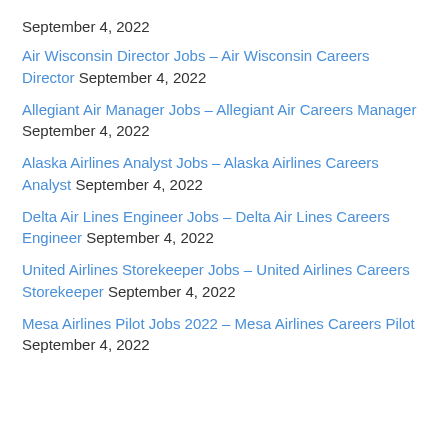September 4, 2022
Air Wisconsin Director Jobs – Air Wisconsin Careers Director September 4, 2022
Allegiant Air Manager Jobs – Allegiant Air Careers Manager September 4, 2022
Alaska Airlines Analyst Jobs – Alaska Airlines Careers Analyst September 4, 2022
Delta Air Lines Engineer Jobs – Delta Air Lines Careers Engineer September 4, 2022
United Airlines Storekeeper Jobs – United Airlines Careers Storekeeper September 4, 2022
Mesa Airlines Pilot Jobs 2022 – Mesa Airlines Careers Pilot September 4, 2022